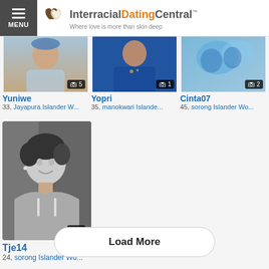MENU | InterracialDatingCentral™ — Where love is more than skin deep
[Figure (photo): Profile photo of Yuniwe, partially cropped at top, showing a person outdoors; photo badge shows camera icon and 5]
Yuniwe
33, Jayapura Islander W...
[Figure (photo): Profile photo of Yopri, partially cropped at top, person in blue outfit; photo badge shows camera icon and 1]
Yopri
35, manokwari Islande...
[Figure (photo): Profile photo of Cinta07, partially cropped at top, blue floral motif visible; photo badge shows camera icon and 2]
Cinta07
45, sorong Islander Wo...
[Figure (photo): Black and white portrait photo of Tje14, a young woman smiling, short curly hair, wearing spaghetti strap top; photo badge shows camera icon and 4]
Tje14
24, sorong Islander Wo...
Load More